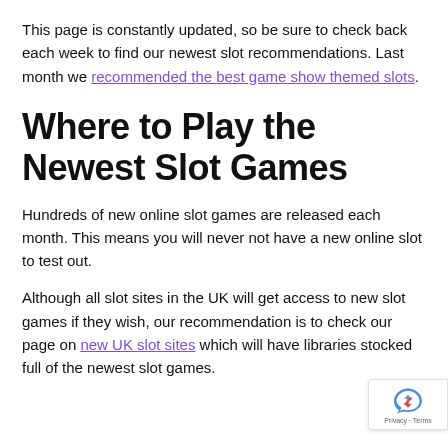This page is constantly updated, so be sure to check back each week to find our newest slot recommendations. Last month we recommended the best game show themed slots.
Where to Play the Newest Slot Games
Hundreds of new online slot games are released each month. This means you will never not have a new online slot to test out.
Although all slot sites in the UK will get access to new slot games if they wish, our recommendation is to check our page on new UK slot sites which will have libraries stocked full of the newest slot games.